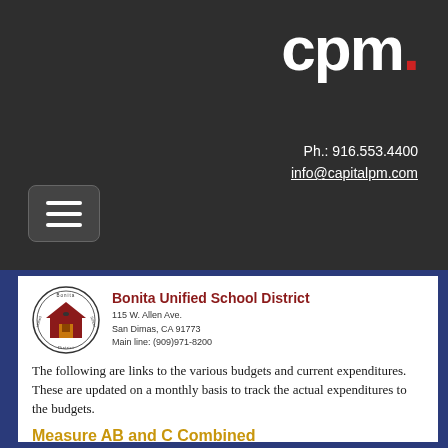[Figure (logo): CPM logo with stylized lowercase 'cpm' text and a red dot in white on dark background]
Ph.: 916.553.4400
info@capitalpm.com
[Figure (other): Hamburger menu icon button with three horizontal white lines on dark gray rounded rectangle]
[Figure (logo): Bonita Unified School District circular seal logo showing a red schoolhouse]
Bonita Unified School District
115 W. Allen Ave.
San Dimas, CA 91773
Main line: (909)971-8200
The following are links to the various budgets and current expenditures. These are updated on a monthly basis to track the actual expenditures to the budgets.
Measure AB and C Combined